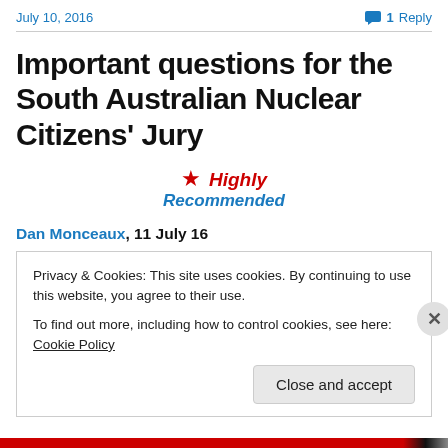July 10, 2016   💬 1 Reply
Important questions for the South Australian Nuclear Citizens' Jury
[Figure (other): Red star icon with text 'Highly Recommended' in red and blue italic bold font]
Dan Monceaux, 11 July 16
Privacy & Cookies: This site uses cookies. By continuing to use this website, you agree to their use.
To find out more, including how to control cookies, see here: Cookie Policy
Close and accept